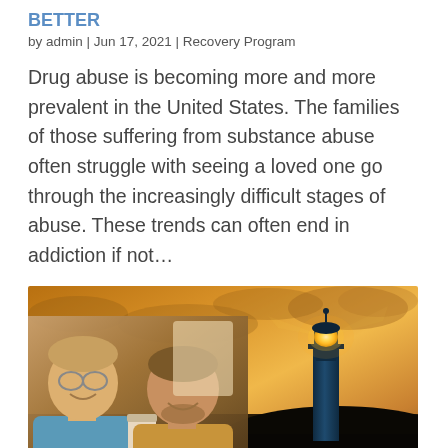BETTER
by admin | Jun 17, 2021 | Recovery Program
Drug abuse is becoming more and more prevalent in the United States. The families of those suffering from substance abuse often struggle with seeing a loved one go through the increasingly difficult stages of abuse. These trends can often end in addiction if not…
[Figure (photo): Composite photo showing two men smiling and clinking coffee cups on the left, and a lighthouse silhouetted against a dramatic orange sunset sky on the right.]